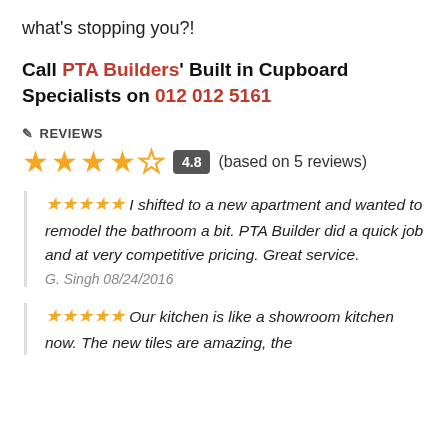what's stopping you?!
Call PTA Builders' Built in Cupboard Specialists on 012 012 5161
✎ REVIEWS
★★★★☆ 4.8 (based on 5 reviews)
★★★★★ I shifted to a new apartment and wanted to remodel the bathroom a bit. PTA Builder did a quick job and at very competitive pricing. Great service. G. Singh 08/24/2016
★★★★★ Our kitchen is like a showroom kitchen now. The new tiles are amazing, the